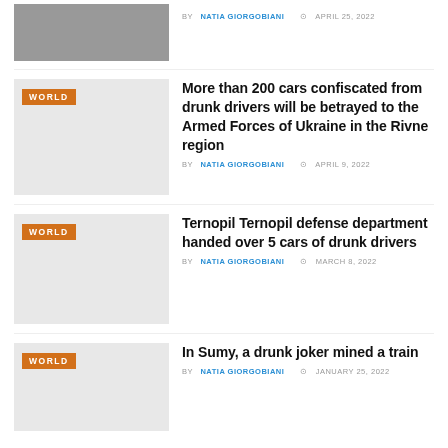[Figure (photo): Partial photo of war damage scene at top of page]
BY NATIA GIORGOBIANI  APRIL 25, 2022
[Figure (photo): Light gray placeholder thumbnail with WORLD tag]
More than 200 cars confiscated from drunk drivers will be betrayed to the Armed Forces of Ukraine in the Rivne region
BY NATIA GIORGOBIANI  APRIL 9, 2022
[Figure (photo): Light gray placeholder thumbnail with WORLD tag]
Ternopil Ternopil defense department handed over 5 cars of drunk drivers
BY NATIA GIORGOBIANI  MARCH 8, 2022
[Figure (photo): Light gray placeholder thumbnail with WORLD tag]
In Sumy, a drunk joker mined a train
BY NATIA GIORGOBIANI  JANUARY 25, 2022